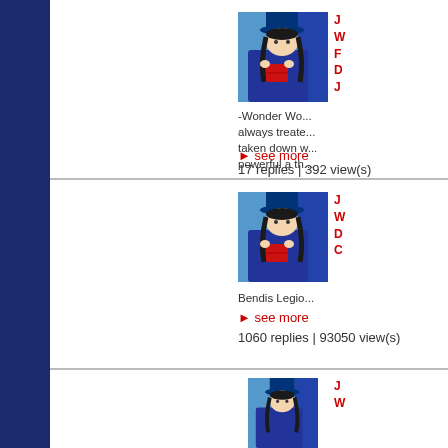[Figure (screenshot): Forum thread listing page showing comic book discussion threads with avatar images and thread metadata]
-Wonder Wo... always treate... taken down w... powerful a th...
▶ see more
17 replies | 392 view(s)
Bendis Legio...
▶ see more
1060 replies | 93050 view(s)